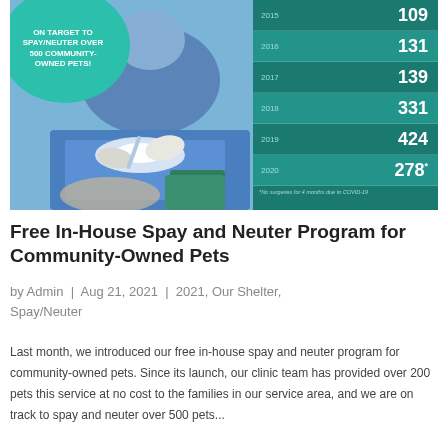[Figure (infographic): Left side: photo of a veterinarian in blue scrubs and gloves performing a spay/neuter surgery on a pet, with a teal circle badge reading 'ON TARGET TO SPAY/NEUTER OVER 500 COMMUNITY-OWNED PETS!'. Right side: teal bar/arrow chart showing annual spay/neuter counts by year: 2015=109, 2016=131, 2017=139, 2018=331, 2019=424, 2020=278* with footnote 'No surgeries for 4 months due to COVID-19'.]
Free In-House Spay and Neuter Program for Community-Owned Pets
by Admin | Aug 21, 2021 | 2021, Our Shelter, Spay/Neuter
Last month, we introduced our free in-house spay and neuter program for community-owned pets. Since its launch, our clinic team has provided over 200 pets this service at no cost to the families in our service area, and we are on track to spay and neuter over 500 pets...